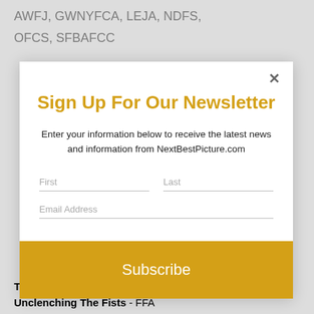AWFJ, GWNYFCA, LEJA, NDFS, OFCS, SFBAFCC
Sign Up For Our Newsletter
Enter your information below to receive the latest news and information from NextBestPicture.com
First
Last
Email Address
Subscribe
Titane - IFSC
Unclenching The Fists - FFA